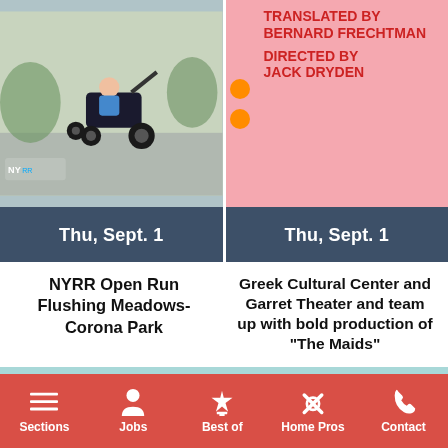[Figure (photo): Photo of person riding a stroller/running stroller on a path, NYRR logo visible. Card shows date Thu, Sept. 1]
[Figure (photo): Pink/red poster with text: TRANSLATED BY BERNARD FRECHTMAN, DIRECTED BY JACK DRYDEN. Card shows date Thu, Sept. 1]
Thu, Sept. 1
Thu, Sept. 1
NYRR Open Run Flushing Meadows-Corona Park
Greek Cultural Center and Garret Theater and team up with bold production of “The Maids”
VIEW ALL EVENTS…
Sections  Jobs  Best of  Home Pros  Contact